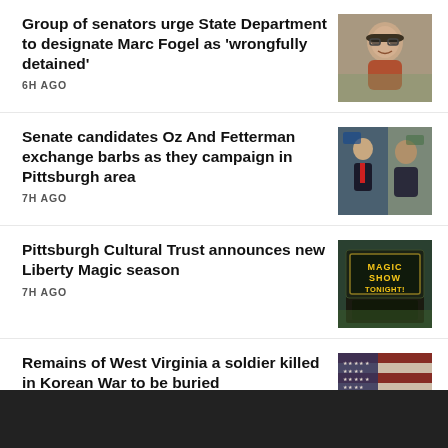Group of senators urge State Department to designate Marc Fogel as 'wrongfully detained'
6H AGO
[Figure (photo): Photo of Marc Fogel, a man with glasses and a beard, smiling outdoors]
Senate candidates Oz And Fetterman exchange barbs as they campaign in Pittsburgh area
7H AGO
[Figure (photo): Photo of two men at a political event, one in a suit with red tie, one in a dark hoodie]
Pittsburgh Cultural Trust announces new Liberty Magic season
7H AGO
[Figure (photo): Photo of a sign that reads 'MAGIC SHOW TONIGHT!' in gold letters on a dark background]
Remains of West Virginia a soldier killed in Korean War to be buried
[Figure (photo): Photo of an American flag, weathered or vintage looking]